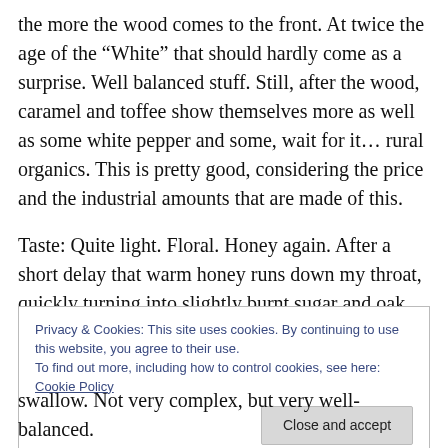the more the wood comes to the front. At twice the age of the “White” that should hardly come as a surprise. Well balanced stuff. Still, after the wood, caramel and toffee show themselves more as well as some white pepper and some, wait for it… rural organics. This is pretty good, considering the price and the industrial amounts that are made of this.
Taste: Quite light. Floral. Honey again. After a short delay that warm honey runs down my throat, quickly turning into slightly burnt sugar and oak. Very friendly and not the big
Privacy & Cookies: This site uses cookies. By continuing to use this website, you agree to their use.
To find out more, including how to control cookies, see here: Cookie Policy
swallow. Not very complex, but very well-balanced.